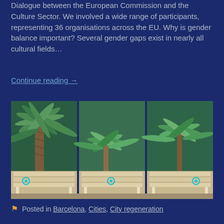Dialogue between the European Commission and the Culture Sector. We involved a wide range of participants, representing 36 organisations across the EU. Why is gender balance important? Several gender gaps exist in nearly all cultural fields…
Continue reading →
[Figure (photo): Three-panel photo showing palm trees in an urban garden/park setting (top portion) and three park benches with cyan/turquoise circular icons on them (bottom portion).]
Posted in Barcelona, Cities, City regeneration